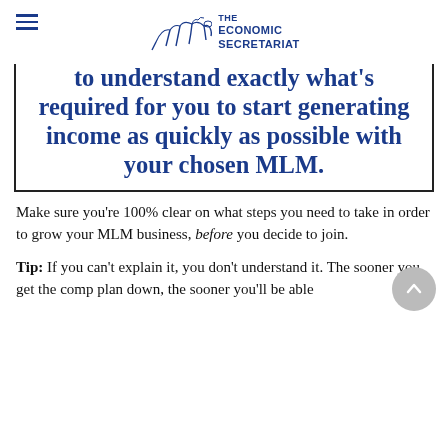THE ECONOMIC SECRETARIAT
to understand exactly what's required for you to start generating income as quickly as possible with your chosen MLM.
Make sure you're 100% clear on what steps you need to take in order to grow your MLM business, before you decide to join.
Tip: If you can't explain it, you don't understand it. The sooner you get the comp plan down, the sooner you'll be able